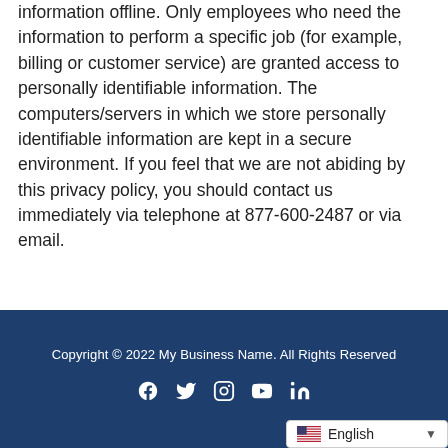information offline. Only employees who need the information to perform a specific job (for example, billing or customer service) are granted access to personally identifiable information. The computers/servers in which we store personally identifiable information are kept in a secure environment. If you feel that we are not abiding by this privacy policy, you should contact us immediately via telephone at 877-600-2487 or via email.
Copyright © 2022 My Business Name. All Rights Reserved